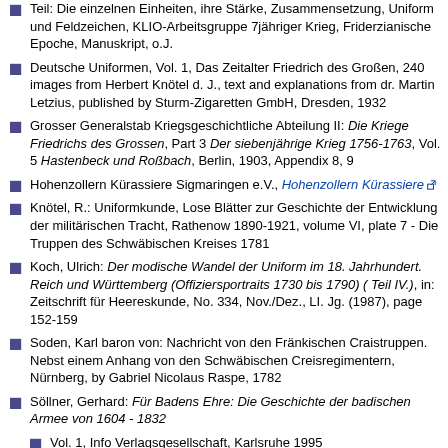Teil: Die einzelnen Einheiten, ihre Stärke, Zusammensetzung, Uniform und Feldzeichen, KLIO-Arbeitsgruppe 7jähriger Krieg, Friderzianische Epoche, Manuskript, o.J.
Deutsche Uniformen, Vol. 1, Das Zeitalter Friedrich des Großen, 240 images from Herbert Knötel d. J., text and explanations from dr. Martin Letzius, published by Sturm-Zigaretten GmbH, Dresden, 1932
Grosser Generalstab Kriegsgeschichtliche Abteilung II: Die Kriege Friedrichs des Grossen, Part 3 Der siebenjährige Krieg 1756-1763, Vol. 5 Hastenbeck und Roßbach, Berlin, 1903, Appendix 8, 9
Hohenzollern Kürassiere Sigmaringen e.V., Hohenzollern Kürassiere [external link]
Knötel, R.: Uniformkunde, Lose Blätter zur Geschichte der Entwicklung der militärischen Tracht, Rathenow 1890-1921, volume VI, plate 7 - Die Truppen des Schwäbischen Kreises 1781
Koch, Ulrich: Der modische Wandel der Uniform im 18. Jahrhundert. Reich und Württemberg (Offiziersportraits 1730 bis 1790) ( Teil IV.), in: Zeitschrift für Heereskunde, No. 334, Nov./Dez., LI. Jg. (1987), page 152-159
Soden, Karl baron von: Nachricht von den Fränkischen Craistruppen. Nebst einem Anhang von den Schwäbischen Creisregimentern, Nürnberg, by Gabriel Nicolaus Raspe, 1782
Söllner, Gerhard: Für Badens Ehre: Die Geschichte der badischen Armee von 1604 - 1832
Vol. 1, Info Verlagsgesellschaft, Karlsruhe 1995